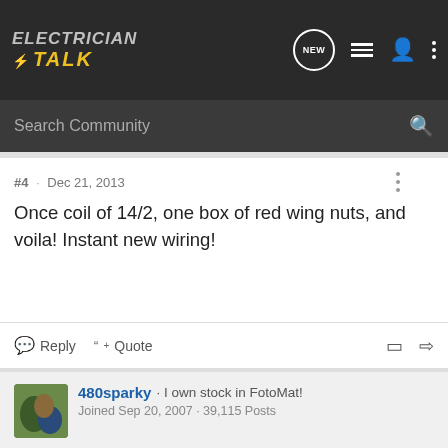ELECTRICIAN TALK — Search Community
#4 · Dec 21, 2013
Once coil of 14/2, one box of red wing nuts, and voila! Instant new wiring!
Reply   Quote
480sparky · I own stock in FotoMat! · Joined Sep 20, 2007 · 39,115 Posts